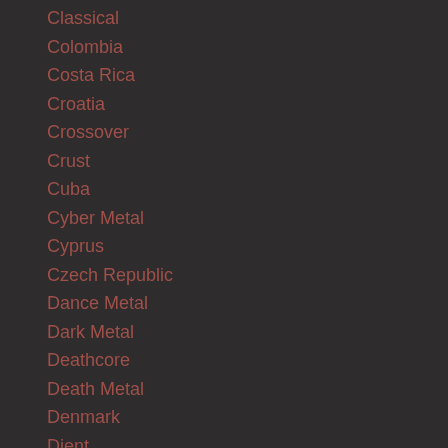Classical
Colombia
Costa Rica
Croatia
Crossover
Crust
Cuba
Cyber Metal
Cyprus
Czech Republic
Dance Metal
Dark Metal
Deathcore
Death Metal
Denmark
Djent
Djentcore
Documentary
Dominican Republic
Doom Metal
Drone Metal